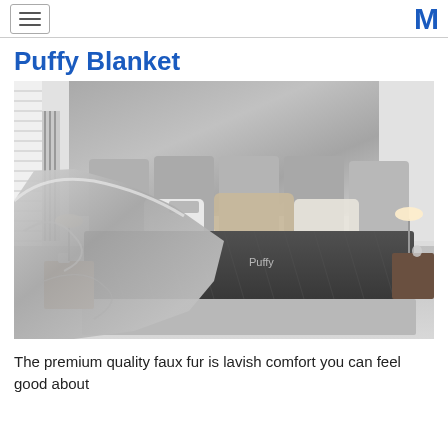Puffy Blanket
[Figure (photo): Bedroom scene showing a gray Puffy mattress on a platform bed with padded headboard panels and decorative pillows, a gray faux fur blanket draped over the front of the bed, nightstands with lamps on each side, window blinds on the left, and a radiator against the left wall.]
The premium quality faux fur is lavish comfort you can feel good about